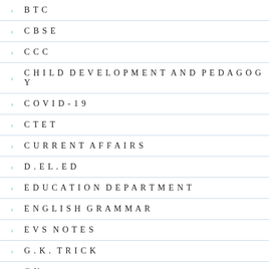BTC
CBSE
CCC
CHILD DEVELOPMENT AND PEDAGOGY
COVID-19
CTET
CURRENT AFFAIRS
D.EL.ED
EDUCATION DEPARTMENT
ENGLISH GRAMMAR
EVS NOTES
G.K. TRICK
GK